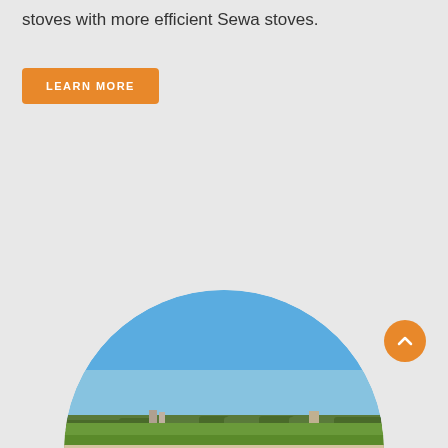stoves with more efficient Sewa stoves.
LEARN MORE
[Figure (photo): Circular cropped outdoor landscape photo showing an open-pit mining or excavation site with sandy/rocky terrain in the foreground, a strip of green vegetation in the middle ground, and a clear blue sky above. The image is clipped into a circle shape.]